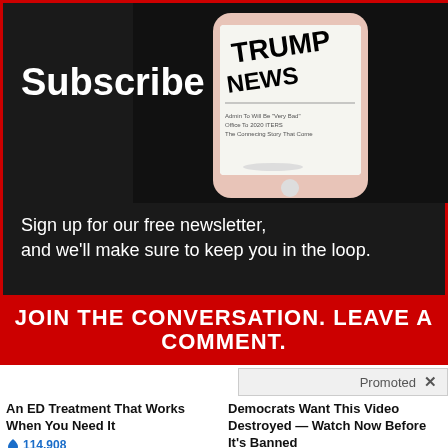Subscribe
[Figure (photo): Smartphone displaying Trump News headline on screen, dark background]
Sign up for our free newsletter, and we'll make sure to keep you in the loop.
JOIN THE CONVERSATION. LEAVE A COMMENT.
First Name
Promoted ×
[Figure (photo): Blue silicone wristbands stacked on white background - ED treatment product]
An ED Treatment That Works When You Need It
🔥 114,908
[Figure (photo): Melania Trump and Donald Trump together, video play button overlay]
Democrats Want This Video Destroyed — Watch Now Before It's Banned
🔥 166,138